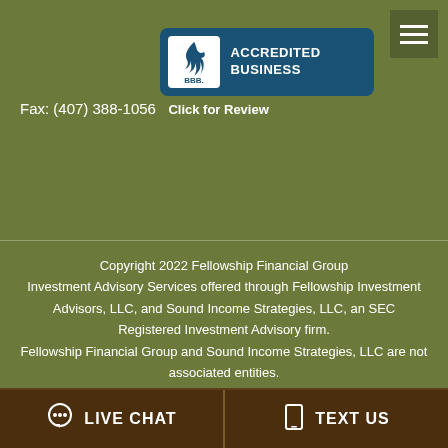Fax: (407) 388-1056
[Figure (logo): BBB Accredited Business badge with blue background and BBB logo, text reading ACCREDITED BUSINESS]
Click for Review
Copyright 2022 Fellowship Financial Group
Investment Advisory Services offered through Fellowship Investment Advisors, LLC, and Sound Income Strategies, LLC, an SEC Registered Investment Advisory firm.
Fellowship Financial Group and Sound Income Strategies, LLC are not associated entities.
LIVE CHAT
TEXT US